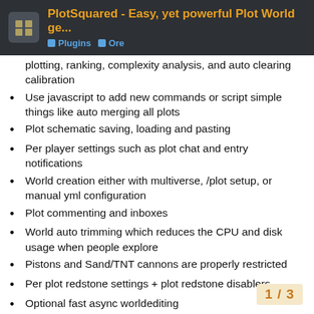PlotSquared - Easy, yet powerful Plot World ge... | Plugins | Ore
plotting, ranking, complexity analysis, and auto clearing calibration
Use javascript to add new commands or script simple things like auto merging all plots
Plot schematic saving, loading and pasting
Per player settings such as plot chat and entry notifications
World creation either with multiverse, /plot setup, or manual yml configuration
Plot commenting and inboxes
World auto trimming which reduces the CPU and disk usage when people explore
Pistons and Sand/TNT cannons are properly restricted
Per plot redstone settings + plot redstone disablers
Optional fast async worldediting
Restrict the use of WorldEdit and VoxelSniper to plots only.
Chunk processing to safely unload d... (also processes WorldEdit command...
Component setting (floor, wall, borde...
1 / 3